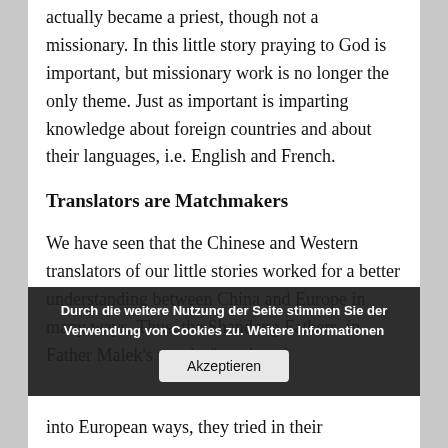actually became a priest, though not a missionary. In this little story praying to God is important, but missionary work is no longer the only theme. Just as important is imparting knowledge about foreign countries and about their languages, i.e. English and French.
Translators are Matchmakers
We have seen that the Chinese and Western translators of our little stories worked for a better understanding between China and Europe in many ways. Thus, the Shandong Fathers, in Father Malek's words, "continued the att... Instead of one-sidedly forcing the Chinese into European ways, they tried in their
Durch die weitere Nutzung der Seite stimmen Sie der Verwendung von Cookies zu. Weitere Informationen
Akzeptieren